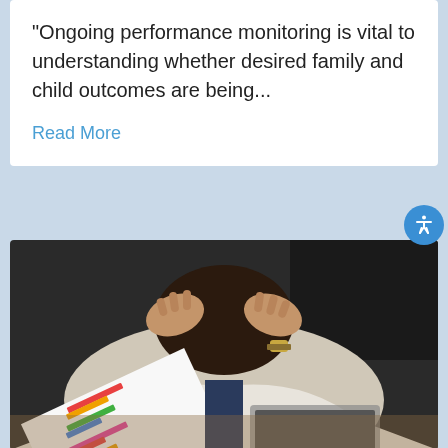“Ongoing performance monitoring is vital to understanding whether desired family and child outcomes are being...
Read More
[Figure (photo): Person in business attire with head in hands, leaning over a desk with a bar chart document and laptop, appearing stressed or overwhelmed.]